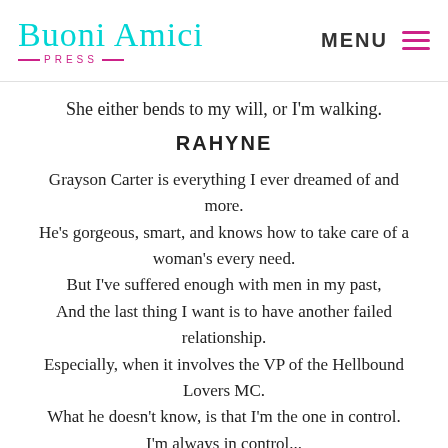Buoni Amici Press | MENU
She either bends to my will, or I'm walking.
RAHYNE
Grayson Carter is everything I ever dreamed of and more.
He's gorgeous, smart, and knows how to take care of a woman's every need.
But I've suffered enough with men in my past,
And the last thing I want is to have another failed relationship.
Especially, when it involves the VP of the Hellbound Lovers MC.
What he doesn't know, is that I'm the one in control.
I'm always in control...
So why is it that Grayson Carter is the only man who has ever made me want to lose it?